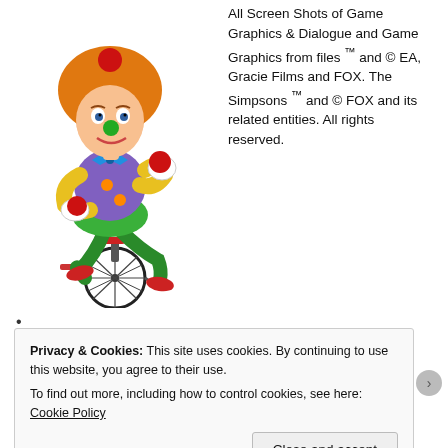[Figure (illustration): Cartoon clown character from The Simpsons (Sideshow Bob or similar) juggling red balls while riding a unicycle, wearing a purple vest, green pants, and orange afro hair.]
All Screen Shots of Game Graphics & Dialogue and Game Graphics from files ™ and © EA, Gracie Films and FOX. The Simpsons ™ and © FOX and its related entities. All rights reserved.
•
Privacy & Cookies: This site uses cookies. By continuing to use this website, you agree to their use.
To find out more, including how to control cookies, see here: Cookie Policy
Close and accept